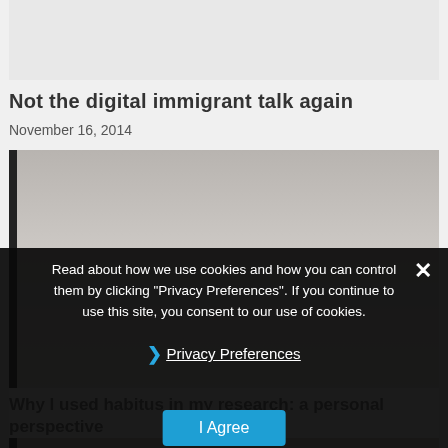[Figure (photo): Light gray placeholder image at top of page]
Not the digital immigrant talk again
November 16, 2014
[Figure (photo): Foggy misty landscape photo with dark vertical strip on left edge]
Read about how we use cookies and how you can control them by clicking "Privacy Preferences". If you continue to use this site, you consent to our use of cookies.
❯ Privacy Preferences
I Agree
Why I used habitus in my research: a personal perspective